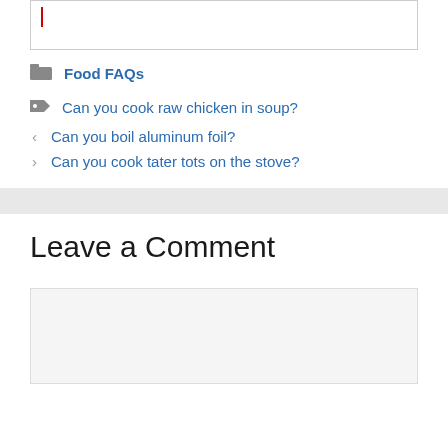[Figure (other): Text input field with red cursor]
Food FAQs
Can you cook raw chicken in soup?
Can you boil aluminum foil?
Can you cook tater tots on the stove?
Leave a Comment
[Figure (other): Empty comment text area input box]